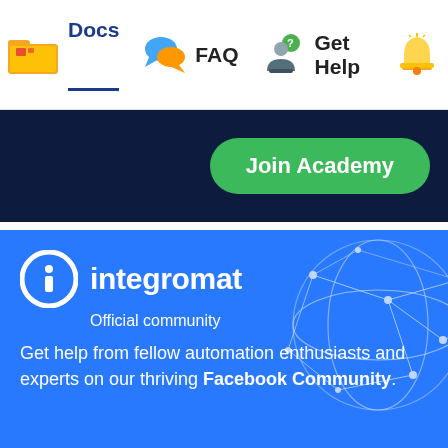Docs  FAQ  Get Help
Join Academy
[Figure (logo): Integromat logo with globe network graphic and text 'integromat Official community']
Get help from fellow automation enthusiasts and experts on our thriving Facebook Community.
Join Community